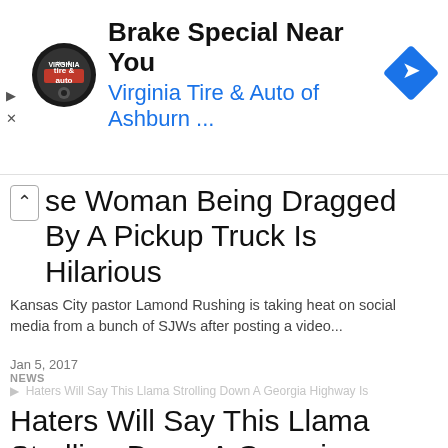[Figure (screenshot): Advertisement banner for Virginia Tire & Auto of Ashburn with circular logo and blue arrow diamond icon. Shows 'Brake Special Near You' and 'Virginia Tire & Auto of Ashburn ...' with play and close icons on left.]
se Woman Being Dragged By A Pickup Truck Is Hilarious
Kansas City pastor Lamond Rushing is taking heat on social media from a bunch of SJWs after posting a video...
Jan 5, 2017
NEWS
Haters Will Say This Llama Strolling Down A Georgia Highway Is Photoshopped
Does anyone know why llamas exist other than their ironic value? Or why someone would own a llama in the...